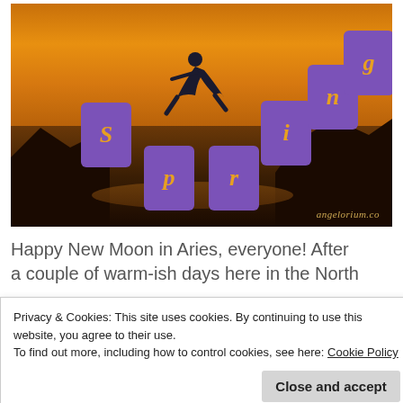[Figure (illustration): A person silhouette leaping/jumping against a warm sunset sky with rocks and water below. Purple cards spell out 'Spring' scattered across the image in an ascending staircase pattern. Watermark reads 'angelorium.co']
Happy New Moon in Aries, everyone! After a couple of warm-ish days here in the North
Privacy & Cookies: This site uses cookies. By continuing to use this website, you agree to their use.
To find out more, including how to control cookies, see here: Cookie Policy
Close and accept